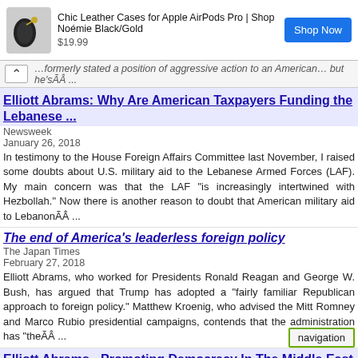[Figure (other): Ad banner: Chic Leather Cases for Apple AirPods Pro | Shop Noémie Black/Gold, $19.99, Shop Now button]
…formerly stated a position of aggressive action to an American… but he'sÃÂ ...
Elliott Abrams: Why Are American Taxpayers Funding the Lebanese ...
Newsweek
January 26, 2018
In testimony to the House Foreign Affairs Committee last November, I raised some doubts about U.S. military aid to the Lebanese Armed Forces (LAF). My main concern was that the LAF "is increasingly intertwined with Hezbollah." Now there is another reason to doubt that American military aid to LebanonÃÂ ...
The end of America's leaderless foreign policy
The Japan Times
February 27, 2018
Elliott Abrams, who worked for Presidents Ronald Reagan and George W. Bush, has argued that Trump has adopted a "fairly familiar Republican approach to foreign policy." Matthew Kroenig, who advised the Mitt Romney and Marco Rubio presidential campaigns, contends that the administration has "theÃÂ ...
Elliott Abrams - Promoting Democracy In The Middle East